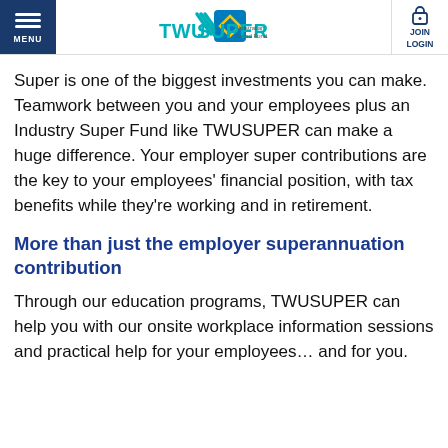MENU | TWUSUPER | JOIN LOGIN
Super is one of the biggest investments you can make. Teamwork between you and your employees plus an Industry Super Fund like TWUSUPER can make a huge difference. Your employer super contributions are the key to your employees' financial position, with tax benefits while they're working and in retirement.
More than just the employer superannuation contribution
Through our education programs, TWUSUPER can help you with our onsite workplace information sessions and practical help for your employees… and for you.